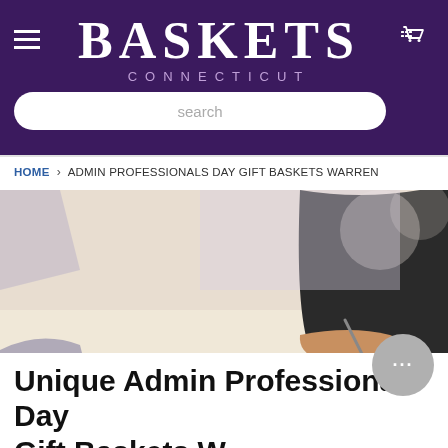BASKETS CONNECTICUT
search
HOME > ADMIN PROFESSIONALS DAY GIFT BASKETS WARREN
[Figure (photo): Business meeting scene with people's hands writing on papers and charts on a table]
Unique Admin Professionals Day Gift Baskets W...